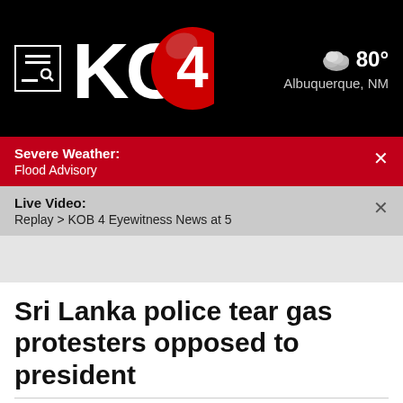KOB 4 — 80° Albuquerque, NM
Severe Weather: Flood Advisory
Live Video: Replay > KOB 4 Eyewitness News at 5
Sri Lanka police tear gas protesters opposed to president
By ERANGA JAYAWARDENA The Associated Press
Updated: May 31, 2022 - 3:05 AM
Published: May 28, 2022 - 5:24 PM